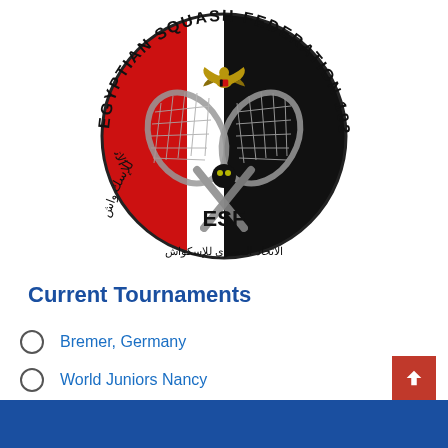[Figure (logo): Egyptian Squash Federation logo (ESF) — circular badge with red, white, black segments and Arabic text, crossed squash rackets, gold eagle, and text 'EGYPTIAN SQUASH FEDERATION 1931']
Current Tournaments
Bremer, Germany
World Juniors Nancy